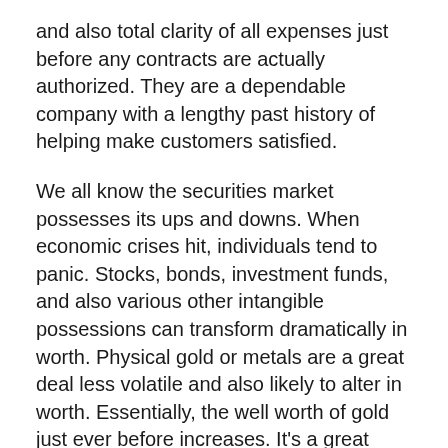and also total clarity of all expenses just before any contracts are actually authorized. They are a dependable company with a lengthy past history of helping make customers satisfied.
We all know the securities market possesses its ups and downs. When economic crises hit, individuals tend to panic. Stocks, bonds, investment funds, and also various other intangible possessions can transform dramatically in worth. Physical gold or metals are a great deal less volatile and also likely to alter in worth. Essentially, the well worth of gold just ever before increases. It’s a great expenditure to aid balance out individual retirement account.